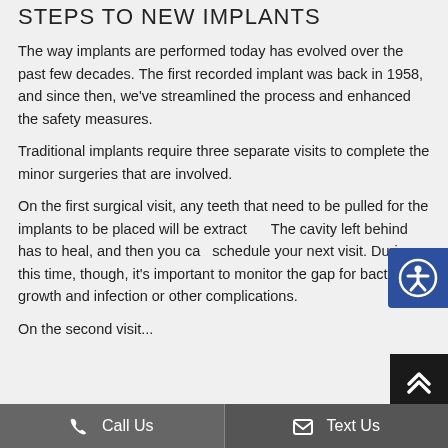STEPS TO NEW IMPLANTS
The way implants are performed today has evolved over the past few decades. The first recorded implant was back in 1958, and since then, we've streamlined the process and enhanced the safety measures.
Traditional implants require three separate visits to complete the minor surgeries that are involved.
On the first surgical visit, any teeth that need to be pulled for the implants to be placed will be extracted. The cavity left behind has to heal, and then you can schedule your next visit. During this time, though, it's important to monitor the gap for bacteria growth and infection or other complications.
On the second visit...
Call Us   Text Us